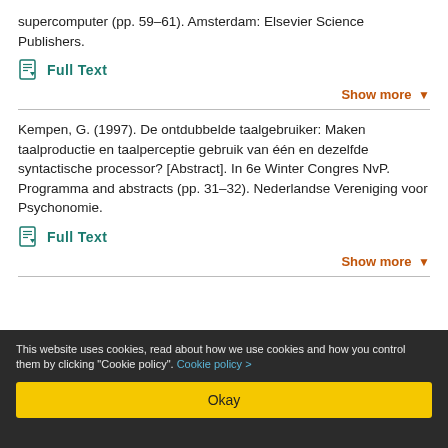supercomputer (pp. 59–61). Amsterdam: Elsevier Science Publishers.
Full Text
Show more
Kempen, G. (1997). De ontdubbelde taalgebruiker: Maken taalproductie en taalperceptie gebruik van één en dezelfde syntactische processor? [Abstract]. In 6e Winter Congres NvP. Programma and abstracts (pp. 31–32). Nederlandse Vereniging voor Psychonomie.
Full Text
Show more
This website uses cookies, read about how we use cookies and how you control them by clicking "Cookie policy". Cookie policy >
Okay